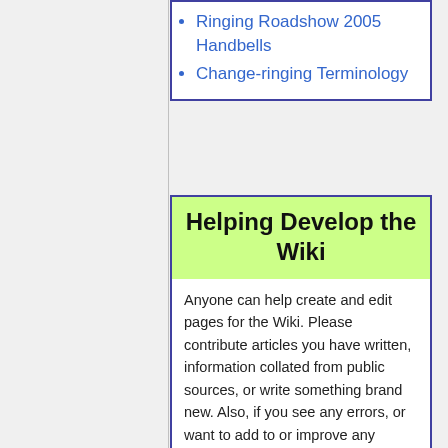Ringing Roadshow 2005 Handbells
Change-ringing Terminology
Helping Develop the Wiki
Anyone can help create and edit pages for the Wiki. Please contribute articles you have written, information collated from public sources, or write something brand new. Also, if you see any errors, or want to add to or improve any pages, please edit them so that the quality and depth of content improves over time.
If you need help please see the Help